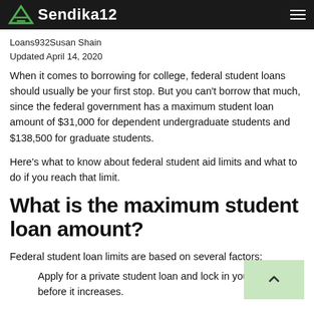Sendika12
Loans932Susan Shain
Updated April 14, 2020
When it comes to borrowing for college, federal student loans should usually be your first stop. But you can't borrow that much, since the federal government has a maximum student loan amount of $31,000 for dependent undergraduate students and $138,500 for graduate students.
Here's what to know about federal student aid limits and what to do if you reach that limit.
What is the maximum student loan amount?
Federal student loan limits are based on several factors:
Apply for a private student loan and lock in your rate before it increases.